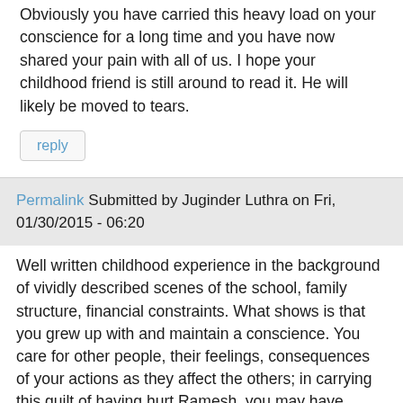Obviously you have carried this heavy load on your conscience for a long time and you have now shared your pain with all of us. I hope your childhood friend is still around to read it. He will likely be moved to tears.
reply
Permalink Submitted by Juginder Luthra on Fri, 01/30/2015 - 06:20
Well written childhood experience in the background of vividly described scenes of the school, family structure, financial constraints. What shows is that you grew up with and maintain a conscience. You care for other people, their feelings, consequences of your actions as they affect the others; in carrying this guilt of having hurt Ramesh, you may have taught yourself a lesson not to hurt others for the last sixty five years. In fact, you might have helped Ramesh to understand the value of two rupees which might not have meant much to him prior to this experience. He actually might be